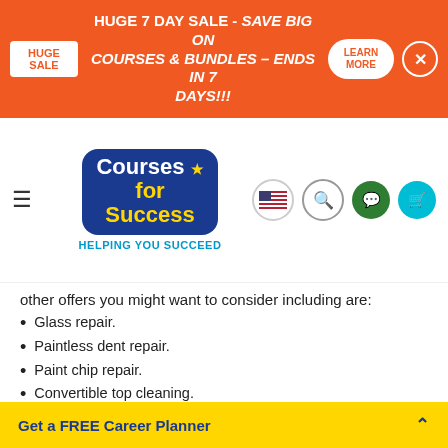HUGE SALE - HUGE 7 DAY SALE - SAVE BIG ON COURSES & BUNDLES – ENDS IN 7 DAYS!!! LEARN MORE
[Figure (logo): Courses for Success logo with tagline HELPING YOU SUCCEED and navigation icons]
other offers you might want to consider including are:
Glass repair.
Paintless dent repair.
Paint chip repair.
Convertible top cleaning.
Headlight restoration.
Car waxes.
Carpet dyeing.
Trim restorer.
How to make money with a mobile detailing
Get a FREE Career Planner